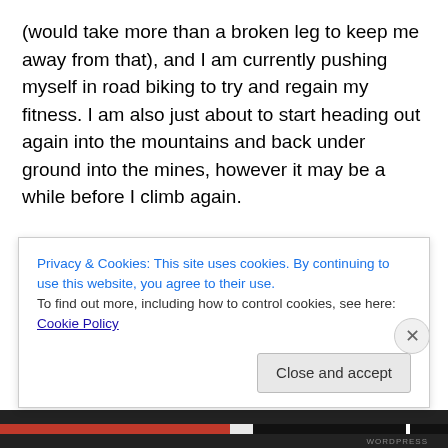(would take more than a broken leg to keep me away from that), and I am currently pushing myself in road biking to try and regain my fitness. I am also just about to start heading out again into the mountains and back under ground into the mines, however it may be a while before I climb again.
Prayer Points
Please pray for us as we try and connect with the young people in our area, and that they would feel encouraged and enabled by us to seek new experiences in both faith
Privacy & Cookies: This site uses cookies. By continuing to use this website, you agree to their use.
To find out more, including how to control cookies, see here: Cookie Policy
Close and accept